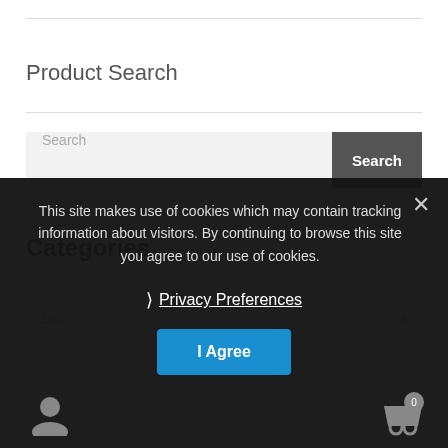Product Search
Search
Categories
This site makes use of cookies which may contain tracking information about visitors. By continuing to browse this site you agree to our use of cookies.
Privacy Preferences
I Agree